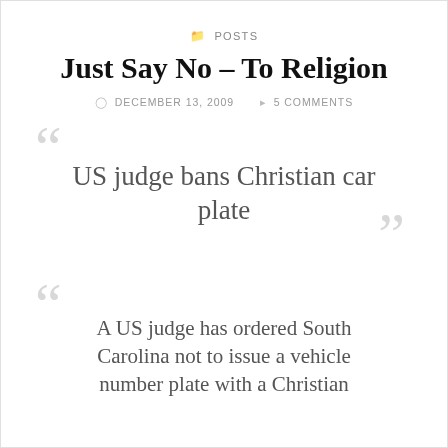POSTS
Just Say No – To Religion
DECEMBER 13, 2009   5 COMMENTS
US judge bans Christian car plate
A US judge has ordered South Carolina not to issue a vehicle number plate with a Christian